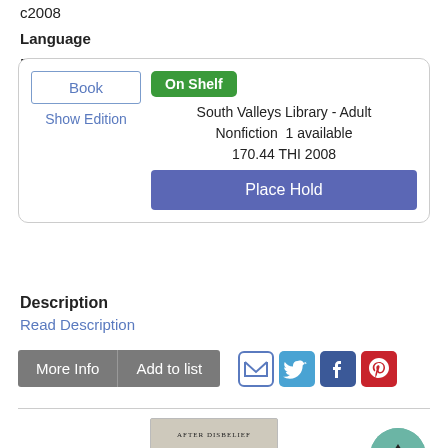c2008
Language
English
Book
Show Edition
On Shelf
South Valleys Library - Adult Nonfiction  1 available
170.44 THI 2008
Place Hold
Description
Read Description
More Info
Add to list
[Figure (screenshot): Social sharing icons: email, Twitter, Facebook, Pinterest]
[Figure (photo): Book cover for 'After Disbelief: On Disenchantment, Disappointment, Eternity and Joy' with yellow snake graphic on gray background]
[Figure (other): Green circle with upward arrow (scroll to top button)]